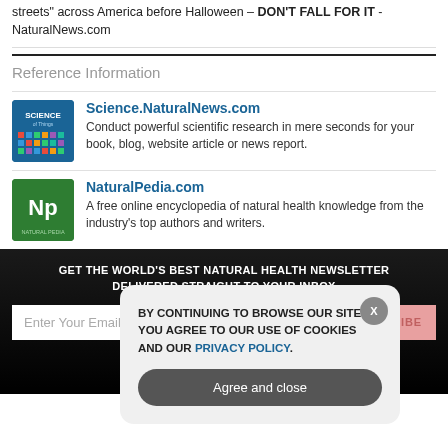streets" across America before Halloween – DON'T FALL FOR IT - NaturalNews.com
Reference Information
Science.NaturalNews.com – Conduct powerful scientific research in mere seconds for your book, blog, website article or news report.
NaturalPedia.com – A free online encyclopedia of natural health knowledge from the industry's top authors and writers.
GET THE WORLD'S BEST NATURAL HEALTH NEWSLETTER DELIVERED STRAIGHT TO YOUR INBOX
Enter Your Email Address
SUBSCRIBE
BY CONTINUING TO BROWSE OUR SITE YOU AGREE TO OUR USE OF COOKIES AND OUR PRIVACY POLICY.
Agree and close